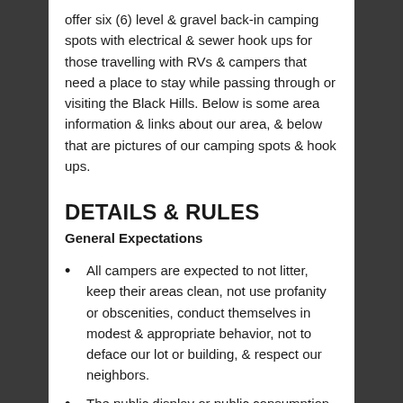offer six (6) level & gravel back-in camping spots with electrical & sewer hook ups for those travelling with RVs & campers that need a place to stay while passing through or visiting the Black Hills. Below is some area information & links about our area, & below that are pictures of our camping spots & hook ups.
DETAILS & RULES
General Expectations
All campers are expected to not litter, keep their areas clean, not use profanity or obscenities, conduct themselves in modest & appropriate behavior, not to deface our lot or building, & respect our neighbors.
The public display or public consumption of